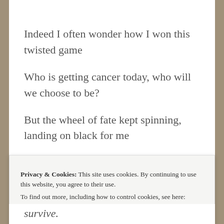Indeed I often wonder how I won this twisted game
Who is getting cancer today, who will we choose to be?
But the wheel of fate kept spinning, landing on black for me
My life is forever changed, there is no going back
Privacy & Cookies: This site uses cookies. By continuing to use this website, you agree to their use.
To find out more, including how to control cookies, see here: Cookie Policy
Close and accept
survive.